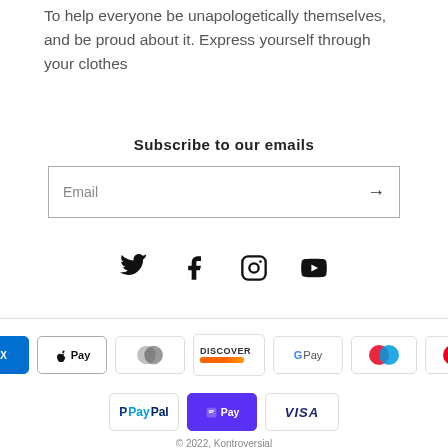To help everyone be unapologetically themselves, and be proud about it. Express yourself through your clothes
Subscribe to our emails
Email
[Figure (infographic): Social media icons: Twitter, Facebook, Instagram, YouTube]
[Figure (infographic): Payment method icons: American Express, Apple Pay, Diners Club, Discover, Google Pay, Maestro, Mastercard, PayPal, Shop Pay, Visa]
© 2022, Kontroversial